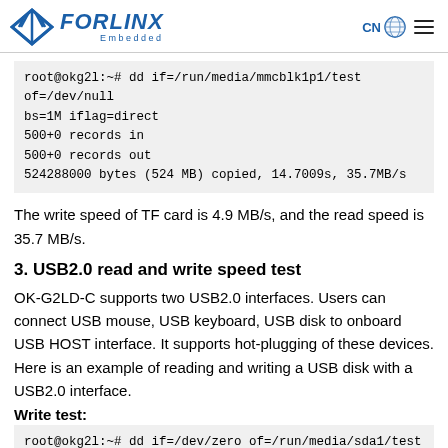FORLINX Embedded | CN [globe icon] [menu icon]
root@okg2l:~# dd if=/run/media/mmcblk1p1/test of=/dev/null bs=1M iflag=direct
500+0 records in
500+0 records out
524288000 bytes (524 MB) copied, 14.7009s, 35.7MB/s
The write speed of TF card is 4.9 MB/s, and the read speed is 35.7 MB/s.
3. USB2.0 read and write speed test
OK-G2LD-C supports two USB2.0 interfaces. Users can connect USB mouse, USB keyboard, USB disk to onboard USB HOST interface. It supports hot-plugging of these devices. Here is an example of reading and writing a USB disk with a USB2.0 interface.
Write test:
root@okg2l:~# dd if=/dev/zero of=/run/media/sda1/test bs=1M count=50 conv = fsync \oflag=direct
50+0 records in